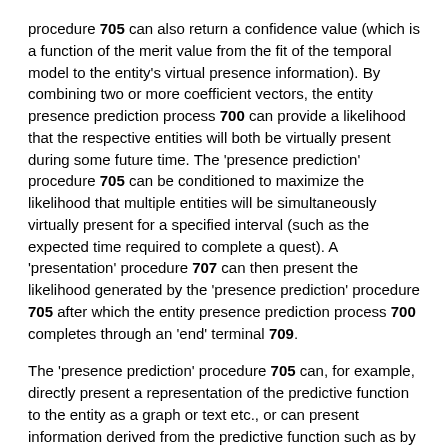procedure 705 can also return a confidence value (which is a function of the merit value from the fit of the temporal model to the entity's virtual presence information). By combining two or more coefficient vectors, the entity presence prediction process 700 can provide a likelihood that the respective entities will both be virtually present during some future time. The 'presence prediction' procedure 705 can be conditioned to maximize the likelihood that multiple entities will be simultaneously virtually present for a specified interval (such as the expected time required to complete a quest). A 'presentation' procedure 707 can then present the likelihood generated by the 'presence prediction' procedure 705 after which the entity presence prediction process 700 completes through an 'end' terminal 709.
The 'presence prediction' procedure 705 can, for example, directly present a representation of the predictive function to the entity as a graph or text etc., or can present information derived from the predictive function such as by tasking a non-player avatar (represented as a character or oracle) to interact with and present the information derived from the predictive function to the player's avatar.